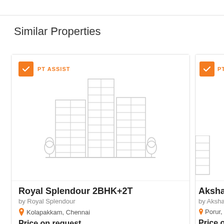Similar Properties
[Figure (illustration): Property listing card for Royal Splendour 2BHK+2T showing a building illustration with PT ASSIST badge]
Royal Splendour 2BHK+2T
by Royal Splendour
Kolapakkam, Chennai
Price on request
[Figure (illustration): Partial property listing card for Akshaya Fo... with PT ASSIST badge (partially visible)]
Akshaya Fo
by Akshaya F
Porur, Che
Price on req